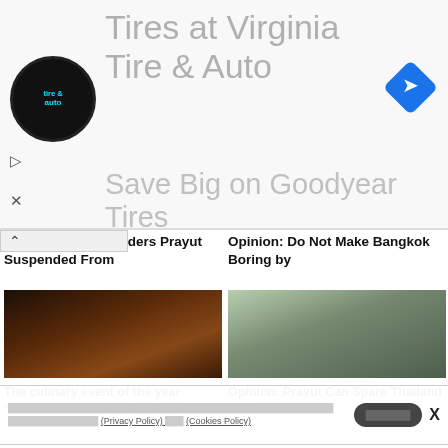[Figure (screenshot): Advertisement banner for Virginia Tire & Auto - Goodyear Tires deal with logo and navigation icon]
stitutional Court Orders Prayut Suspended From
Opinion: Do Not Make Bangkok Boring by
[Figure (photo): Chef or person bent over work with red liquid, dark background]
[Figure (photo): Man in blue shirt with green foliage background]
The culinary event of the year “Thailand’s Favourite
Opinion: Prayut Can Spare Thailand from Further Pain
[Figure (photo): Group of people in masks walking near classical building with columns]
[Figure (photo): Person in suit sitting at desk with Thai flags, formal office setting]
Constitutional Court Asked To
Opinion: Was the Temporary